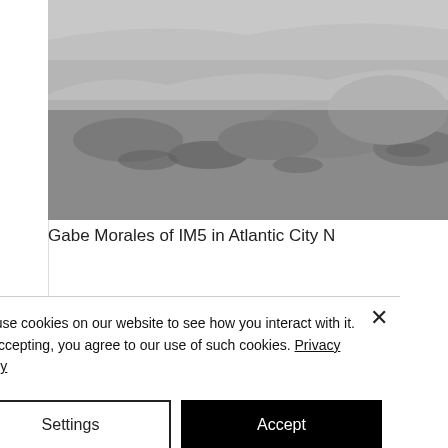[Figure (photo): Grayscale photograph of rocky or sandy terrain, partial view, top of page]
Gabe Morales of IM5 in Atlantic City N
We’re very excited to hear about Grow Wi…
Gabe Morales: We’re very excited abou… Diego. It’s our first “tour” tour. We’ve g…
We use cookies on our website to see how you interact with it. By accepting, you agree to our use of such cookies. Privacy Policy
Settings
Accept